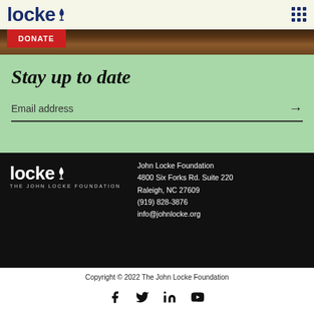locke (John Locke Foundation logo) | grid menu icon
DONATE
Stay up to date
Email address →
[Figure (logo): John Locke Foundation white logo with flame icon and tagline THE JOHN LOCKE FOUNDATION]
John Locke Foundation
4800 Six Forks Rd. Suite 220
Raleigh, NC 27609
(919) 828-3876
info@johnlocke.org
Copyright © 2022 The John Locke Foundation
[Figure (infographic): Social media icons: Facebook, Twitter, LinkedIn, YouTube]